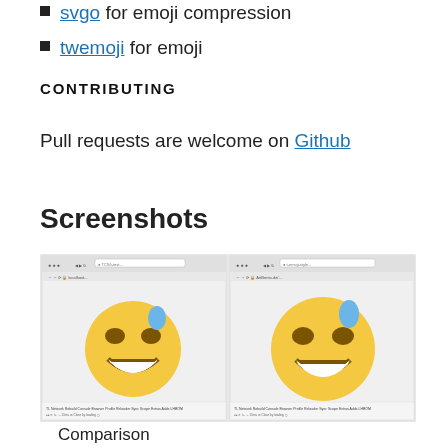svgo for emoji compression
twemoji for emoji
CONTRIBUTING
Pull requests are welcome on Github
Screenshots
[Figure (screenshot): Side-by-side browser screenshots showing two emoji comparison views with a smiling face with sweat emoji displayed in each, alongside developer tools panels.]
Comparison